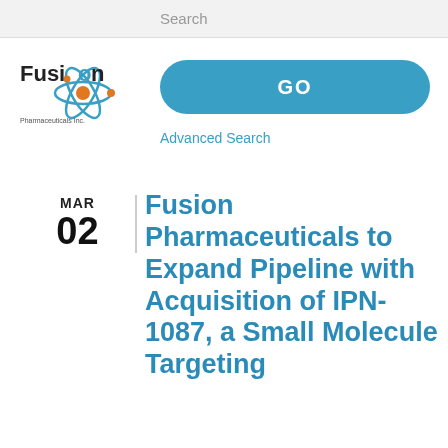Search
[Figure (logo): Fusion Pharmaceuticals Inc. logo with atomic orbit graphic in blue and orange]
GO
Advanced Search
MAR
02
Fusion Pharmaceuticals to Expand Pipeline with Acquisition of IPN-1087, a Small Molecule Targeting